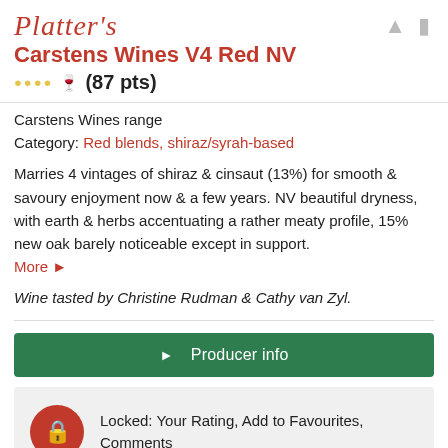Carstens Wines V4 Red NV
(87 pts)
Carstens Wines range
Category: Red blends, shiraz/syrah-based
Marries 4 vintages of shiraz & cinsaut (13%) for smooth & savoury enjoyment now & a few years. NV beautiful dryness, with earth & herbs accentuating a rather meaty profile, 15% new oak barely noticeable except in support. More ►
Wine tasted by Christine Rudman & Cathy van Zyl.
►  Producer info
Locked: Your Rating, Add to Favourites, Comments